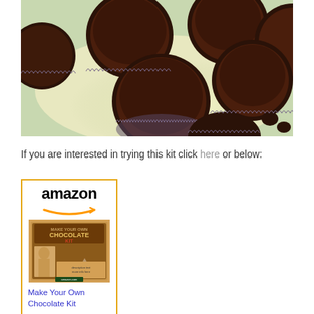[Figure (photo): Overhead photo of chocolate cupcakes in paper liners on a plate with green and white background, some chocolate chips visible]
If you are interested in trying this kit click here or below:
[Figure (screenshot): Amazon product card with Amazon logo and orange arrow, showing 'Make Your Own Chocolate Kit' product image and title link in blue]